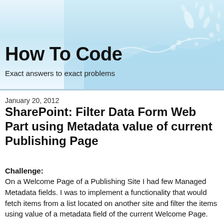[Figure (illustration): Water splash / wave graphic forming the header banner background with light blue water imagery on the right side]
How To Code
Exact answers to exact problems
January 20, 2012
SharePoint: Filter Data Form Web Part using Metadata value of current Publishing Page
Challenge:
On a Welcome Page of a Publishing Site I had few Managed Metadata fields. I was to implement a functionality that would fetch items from a list located on another site and filter the items using value of a metadata field of the current Welcome Page.